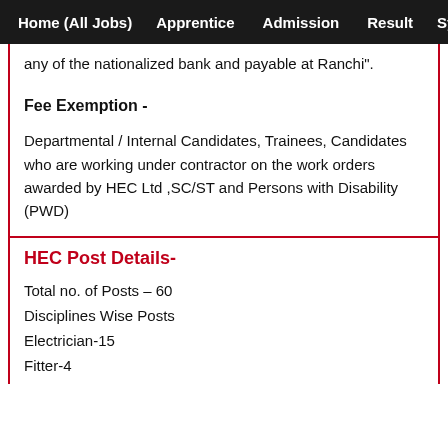Home (All Jobs)   Apprentice   Admission   Result   Sylla
any of the nationalized bank and payable at Ranchi".
Fee Exemption -
Departmental / Internal Candidates, Trainees, Candidates who are working under contractor on the work orders awarded by HEC Ltd ,SC/ST and Persons with Disability (PWD)
HEC Post Details-
Total no. of Posts – 60
Disciplines Wise Posts
Electrician-15
Fitter-4